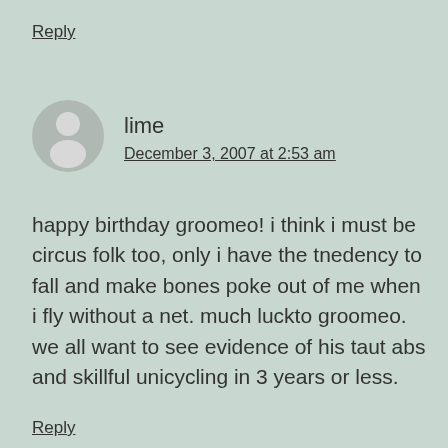Reply
lime
December 3, 2007 at 2:53 am
happy birthday groomeo! i think i must be circus folk too, only i have the tnedency to fall and make bones poke out of me when i fly without a net. much luckto groomeo. we all want to see evidence of his taut abs and skillful unicycling in 3 years or less.
Reply